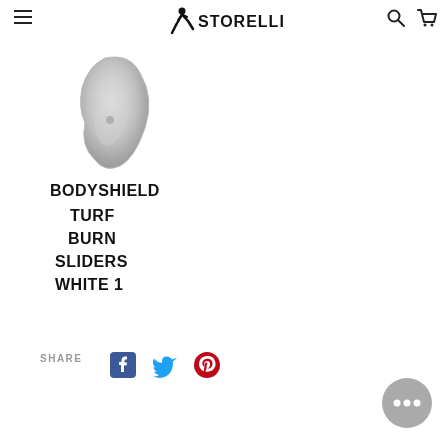Storelli - navigation header with menu, logo, search, cart
[Figure (photo): Product image: white/grey protective ear guard or hip pad, small 3D formed piece of padding]
BODYSHIELD TURF BURN SLIDERS WHITE 1
SHARE
[Figure (other): Social share icons: Facebook, Twitter, Pinterest]
[Figure (other): Chat button with three dots]